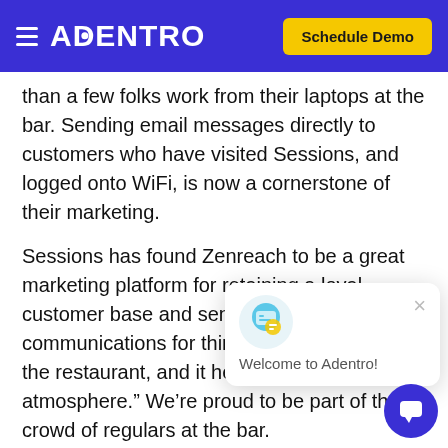ADENTRO | Schedule Demo
than a few folks work from their laptops at the bar. Sending email messages directly to customers who have visited Sessions, and logged onto WiFi, is now a cornerstone of their marketing.
Sessions has found Zenreach to be a great marketing platform for retaining a loyal customer base and sending out communications fo... think it brings faces... of the restaurant, and it helps create a family atmosphere.” We’re proud to be part of the crowd of regulars at the bar.
[Figure (screenshot): Chat popup overlay with 'Welcome to Adentro!' message and chat bubble icon, plus a floating action button (dark blue circle with chat icon) in the bottom right corner.]